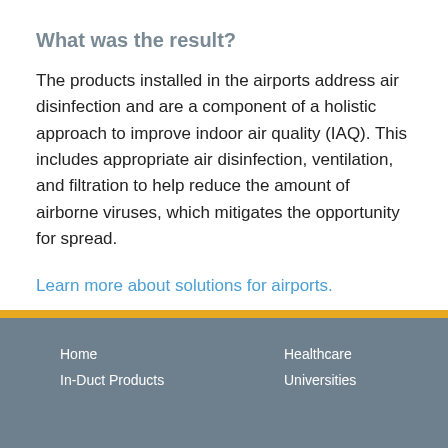What was the result?
The products installed in the airports address air disinfection and are a component of a holistic approach to improve indoor air quality (IAQ). This includes appropriate air disinfection, ventilation, and filtration to help reduce the amount of airborne viruses, which mitigates the opportunity for spread.
Learn more about solutions for airports.
Home | Healthcare | In-Duct Products | Universities